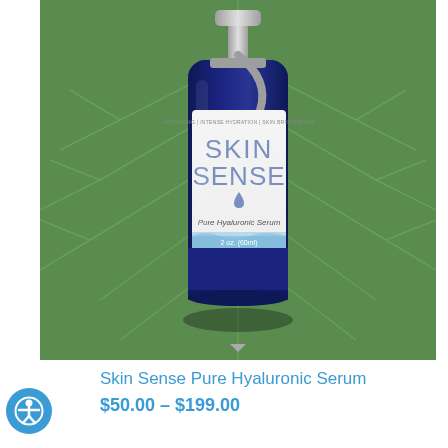[Figure (photo): A dark blue glass dropper bottle with a silver pump cap labeled 'SKIN SENSE Pure Hyaluronic Serum 2 oz. (60ml)' with text 'ANTI-AGING | INTENSE HYDRATION | SKIN BRIGHTENING', photographed on a bright green textured leaf background]
Skin Sense Pure Hyaluronic Serum
$50.00 – $199.00